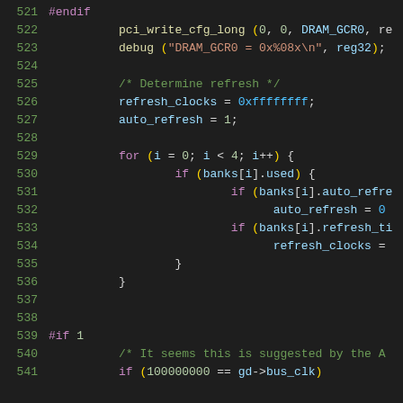Source code listing, lines 521-541, C code with syntax highlighting
521  #endif
522          pci_write_cfg_long (0, 0, DRAM_GCR0, re
523          debug ("DRAM_GCR0 = 0x%08x\n", reg32);
524
525          /* Determine refresh */
526          refresh_clocks = 0xffffffff;
527          auto_refresh = 1;
528
529          for (i = 0; i < 4; i++) {
530                  if (banks[i].used) {
531                          if (banks[i].auto_refre
532                                  auto_refresh = 0
533                          if (banks[i].refresh_ti
534                                  refresh_clocks =
535                  }
536          }
537
538
539  #if 1
540          /* It seems this is suggested by the A
541          if (100000000 == gd->bus_clk)